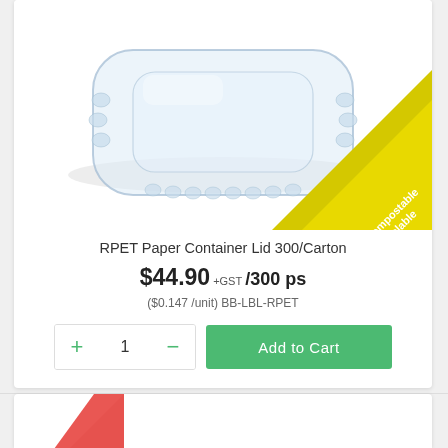[Figure (photo): Clear RPET plastic container lid, rectangular with rounded corners, transparent, viewed from above at an angle.]
RPET Paper Container Lid 300/Carton
$44.90 +GST /300 ps
($0.147 /unit) BB-LBL-RPET